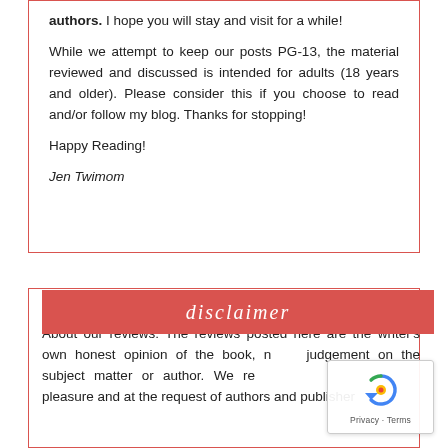authors. I hope you will stay and visit for a while!

While we attempt to keep our posts PG-13, the material reviewed and discussed is intended for adults (18 years and older). Please consider this if you choose to read and/or follow my blog. Thanks for stopping!

Happy Reading!

Jen Twimom
disclaimer
About our reviews: The reviews posted here are the writer's own honest opinion of the book, not judgement on the subject matter or author. We re[ceive books for] pleasure and at the request of authors and publishers.